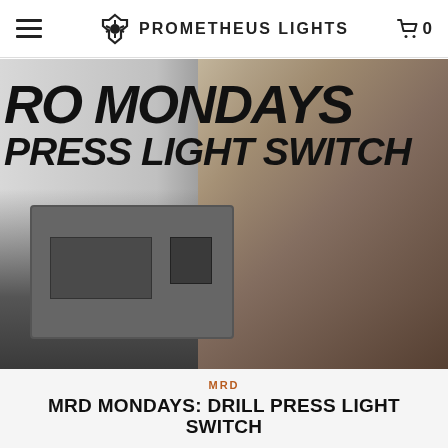PROMETHEUS LIGHTS
[Figure (photo): Hero image showing a man in a black Prometheus Lights t-shirt standing next to a drill press machine, with bold italic text overlay reading 'PRO MONDAYS PRESS LIGHT SWITCH' on the left side]
MRD
MRD MONDAYS: DRILL PRESS LIGHT SWITCH